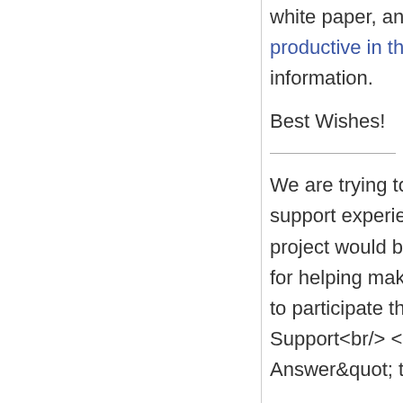white paper, and the Windows 8 app developer blog Being productive in the background – background tasks to get more information.
Best Wishes!
We are trying to better understand customer views on social support experience, so your participation in this interview project would be greatly appreciated if you have time. Thanks for helping make community forums a great place. Click HERE to participate the survey. Thanks<br/> MSDN Community Support<br/> <br/> Please remember to &quot;Mark as Answer&quot; the responses that resolved your issue. It is a